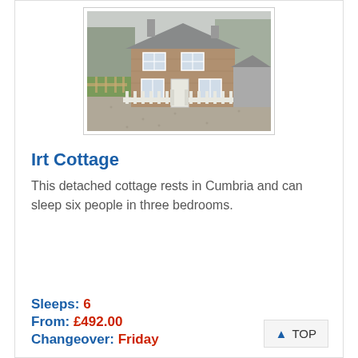[Figure (photo): A stone detached cottage with a white picket fence, gravel driveway, and bare trees in the background, photographed on an overcast day in Cumbria.]
Irt Cottage
This detached cottage rests in Cumbria and can sleep six people in three bedrooms.
Sleeps: 6
From: £492.00
Changeover: Friday